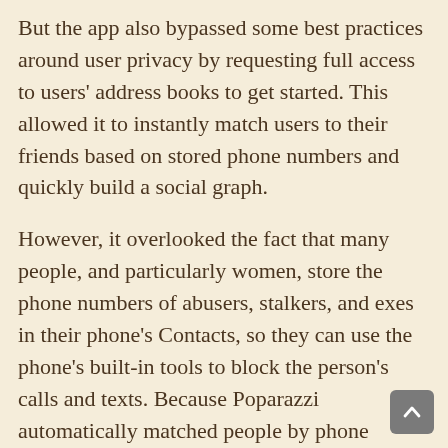But the app also bypassed some best practices around user privacy by requesting full access to users' address books to get started. This allowed it to instantly match users to their friends based on stored phone numbers and quickly build a social graph.
However, it overlooked the fact that many people, and particularly women, store the phone numbers of abusers, stalkers, and exes in their phone's Contacts, so they can use the phone's built-in tools to block the person's calls and texts. Because Poparazzi automatically matched people by phone number, abusers could gain immediate access to the user profiles of the people they were trying to harass or hurt.